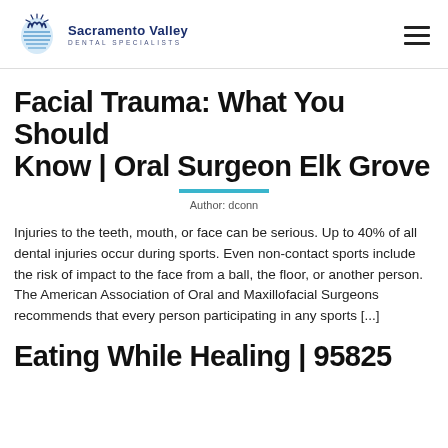[Figure (logo): Sacramento Valley Dental Specialists logo with tooth icon]
Facial Trauma: What You Should Know | Oral Surgeon Elk Grove
Author: dconn
Injuries to the teeth, mouth, or face can be serious. Up to 40% of all dental injuries occur during sports. Even non-contact sports include the risk of impact to the face from a ball, the floor, or another person. The American Association of Oral and Maxillofacial Surgeons recommends that every person participating in any sports [...]
Eating While Healing | 95825